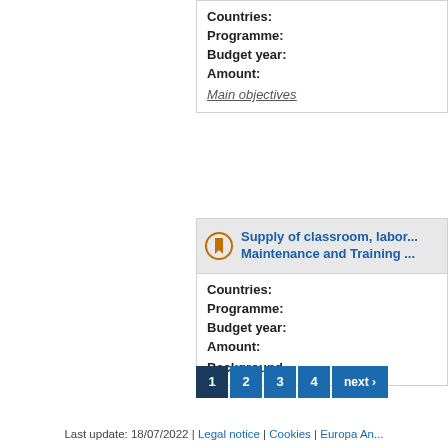Countries:
Programme:
Budget year:
Amount:
Main objectives
Supply of classroom, labor... Maintenance and Training ...
Countries:
Programme:
Budget year:
Amount:
Background
1 2 3 4 next ›
Last update: 18/07/2022 | Legal notice | Cookies | Europa An...